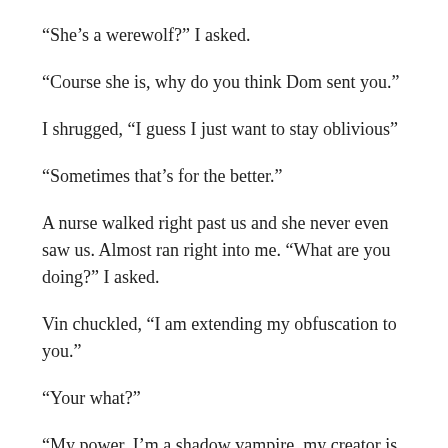“She’s a werewolf?” I asked.
“Course she is, why do you think Dom sent you.”
I shrugged, “I guess I just want to stay oblivious”
“Sometimes that’s for the better.”
A nurse walked right past us and she never even saw us. Almost ran right into me. “What are you doing?” I asked.
Vin chuckled, “I am extending my obfuscation to you.”
“Your what?”
“My power, I’m a shadow vampire, my creator is the Master vampire of our Bloodline. And apparently